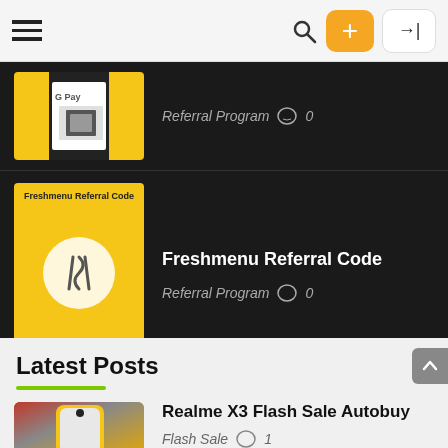Navigation bar with hamburger menu, search icon, + button, and login button
[Figure (screenshot): GPay referral card thumbnail with yellow and black stripes and Google Pay logo]
Referral Program  💬 0
[Figure (screenshot): Freshmenu Referral Code thumbnail - yellow background with FreshMenu logo and fork/spoon icon]
Freshmenu Referral Code
Referral Program  💬 0
Latest Posts
[Figure (photo): Realme X3 phone with orange border on red background]
Realme X3 Flash Sale Autobuy
Flash Sale  💬 1